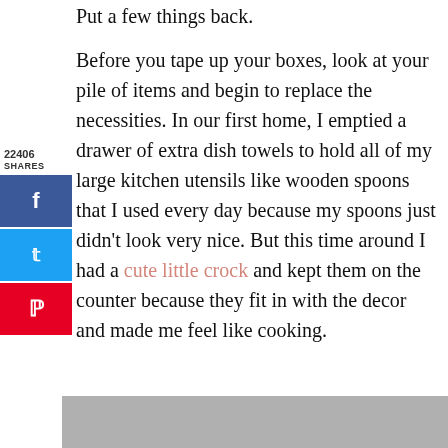Put a few things back.
Before you tape up your boxes, look at your pile of items and begin to replace the necessities. In our first home, I emptied a drawer of extra dish towels to hold all of my large kitchen utensils like wooden spoons that I used every day because my spoons just didn't look very nice. But this time around I had a cute little crock and kept them on the counter because they fit in with the decor and made me feel like cooking.
[Figure (photo): Gray/silver image placeholder at bottom of page]